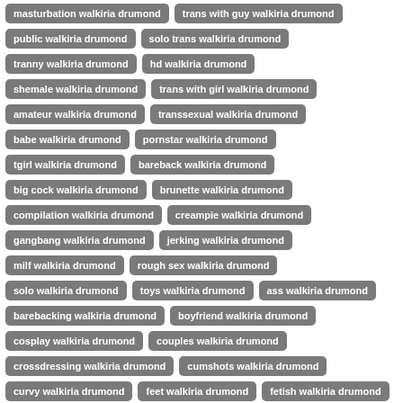masturbation walkiria drumond
trans with guy walkiria drumond
public walkiria drumond
solo trans walkiria drumond
tranny walkiria drumond
hd walkiria drumond
shemale walkiria drumond
trans with girl walkiria drumond
amateur walkiria drumond
transsexual walkiria drumond
babe walkiria drumond
pornstar walkiria drumond
tgirl walkiria drumond
bareback walkiria drumond
big cock walkiria drumond
brunette walkiria drumond
compilation walkiria drumond
creampie walkiria drumond
gangbang walkiria drumond
jerking walkiria drumond
milf walkiria drumond
rough sex walkiria drumond
solo walkiria drumond
toys walkiria drumond
ass walkiria drumond
barebacking walkiria drumond
boyfriend walkiria drumond
cosplay walkiria drumond
couples walkiria drumond
crossdressing walkiria drumond
cumshots walkiria drumond
curvy walkiria drumond
feet walkiria drumond
fetish walkiria drumond
interracial walkiria drumond
lingerie walkiria drumond
masturbation solo walkiria drumond
penetration walkiria drumond